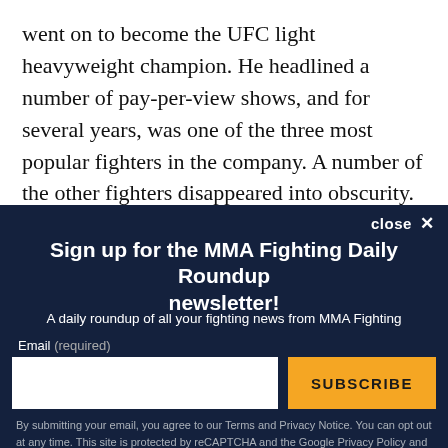went on to become the UFC light heavyweight champion. He headlined a number of pay-per-view shows, and for several years, was one of the three most popular fighters in the company. A number of the other fighters disappeared into obscurity. Others became stars. Kenny Florian and Nate Quarry have both since retired due to injuries and have gotten jobs as fight analysts, something Bonnar has also
[Figure (screenshot): Newsletter signup modal overlay with dark navy background. Title: 'Sign up for the MMA Fighting Daily Roundup newsletter!'. Subtitle: 'A daily roundup of all your fighting news from MMA Fighting'. Email input field and orange SUBSCRIBE button. Footer privacy text.]